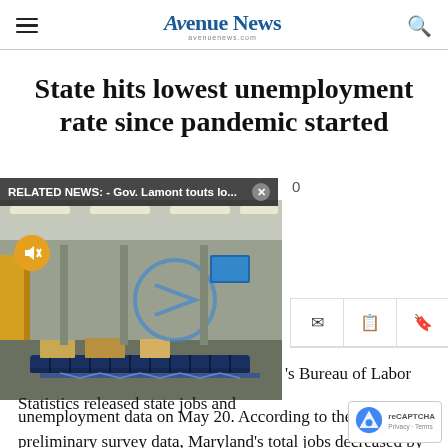Avenue News — aveniunews.com
State hits lowest unemployment rate since pandemic started
RELATED NEWS: - Gov. Lamont touts lo...  ✕  0
[Figure (photo): Warehouse interior with conveyor belts and packages, workers visible in background with a mute button overlay]
's Bureau of Labor Statistics released state jobs and unemployment data on May 20. According to the preliminary survey data, Maryland's total jobs decreased by 500 and the unemployment